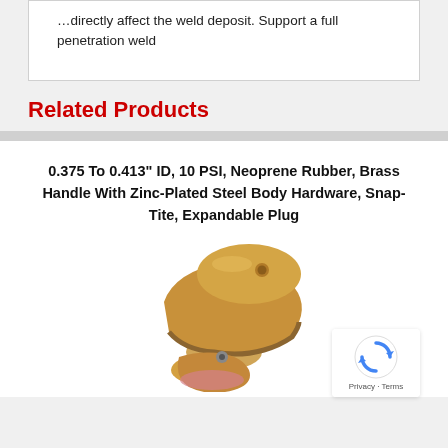...directly affect the weld deposit. Support a full penetration weld
Related Products
0.375 To 0.413" ID, 10 PSI, Neoprene Rubber, Brass Handle With Zinc-Plated Steel Body Hardware, Snap-Tite, Expandable Plug
[Figure (photo): A brass colored expandable plug with handle, Snap-Tite brand, for pipe openings 0.375 to 0.413 inch ID]